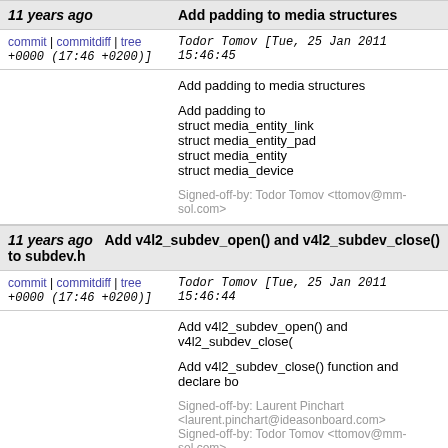| 11 years ago | Add padding to media structures |
| commit | commitdiff | tree +0000 (17:46 +0200)] | Todor Tomov [Tue, 25 Jan 2011 15:46:45 +0000 (17:46 +0200)] |
|  | Add padding to media structures

Add padding to
struct media_entity_link
struct media_entity_pad
struct media_entity
struct media_device

Signed-off-by: Todor Tomov <ttomov@mm-sol.com> |
| 11 years ago | Add v4l2_subdev_open() and v4l2_subdev_close() to subdev.h |
| commit | commitdiff | tree +0000 (17:46 +0200)] | Todor Tomov [Tue, 25 Jan 2011 15:46:44 +0000 (17:46 +0200)] |
|  | Add v4l2_subdev_open() and v4l2_subdev_close(

Add v4l2_subdev_close() function and declare bo

Signed-off-by: Laurent Pinchart <laurent.pinchart@ideasonboard.com>
Signed-off-by: Todor Tomov <ttomov@mm-sol.com> |